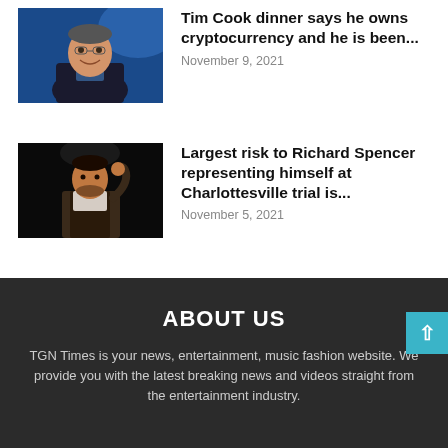[Figure (photo): Photo of Tim Cook smiling, wearing a dark suit, against a blue background]
Tim Cook dinner says he owns cryptocurrency and he is been...
November 9, 2021
[Figure (photo): Photo of a man in a vest on a dark stage, hand raised to his head]
Largest risk to Richard Spencer representing himself at Charlottesville trial is...
November 5, 2021
ABOUT US
TGN Times is your news, entertainment, music fashion website. We provide you with the latest breaking news and videos straight from the entertainment industry.